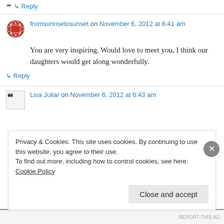↳ Reply
fromsunrisetosunset on November 6, 2012 at 6:41 am
You are very inspiring. Would love to meet you, I think our daughters would get along wonderfully.
↳ Reply
Lisa Juliar on November 6, 2012 at 6:43 am
Privacy & Cookies: This site uses cookies. By continuing to use this website, you agree to their use. To find out more, including how to control cookies, see here: Cookie Policy
Close and accept